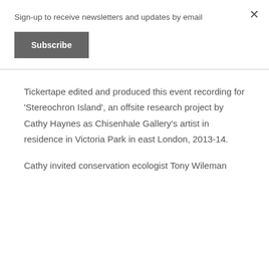Sign-up to receive newsletters and updates by email
Subscribe
Tickertape edited and produced this event recording for 'Stereochron Island', an offsite research project by Cathy Haynes as Chisenhale Gallery's artist in residence in Victoria Park in east London, 2013-14.
Cathy invited conservation ecologist Tony Wileman